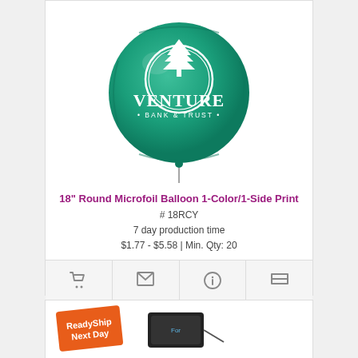[Figure (photo): Green round microfoil balloon with Venture Bank & Trust logo printed in white]
18" Round Microfoil Balloon 1-Color/1-Side Print
# 18RCY
7 day production time
$1.77 - $5.58 | Min. Qty: 20
[Figure (photo): ReadyShip Next Day badge and a black portable charger with a logo]